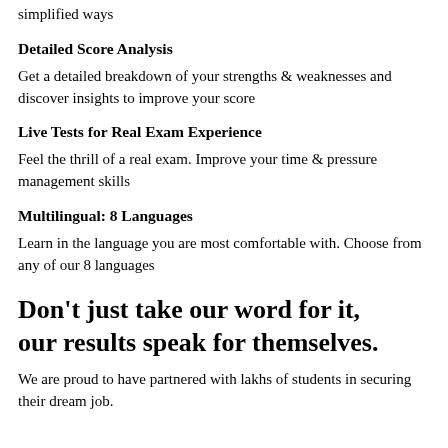simplified ways
Detailed Score Analysis
Get a detailed breakdown of your strengths & weaknesses and discover insights to improve your score
Live Tests for Real Exam Experience
Feel the thrill of a real exam. Improve your time & pressure management skills
Multilingual: 8 Languages
Learn in the language you are most comfortable with. Choose from any of our 8 languages
Don't just take our word for it, our results speak for themselves.
We are proud to have partnered with lakhs of students in securing their dream job.